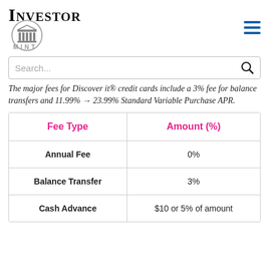[Figure (logo): Investor Mint logo with column building icon in circle]
The major fees for Discover it® credit cards include a 3% fee for balance transfers and 11.99% → 23.99% Standard Variable Purchase APR.
| Fee Type | Amount (%) |
| --- | --- |
| Annual Fee | 0% |
| Balance Transfer | 3% |
| Cash Advance | $10 or 5% of amount |